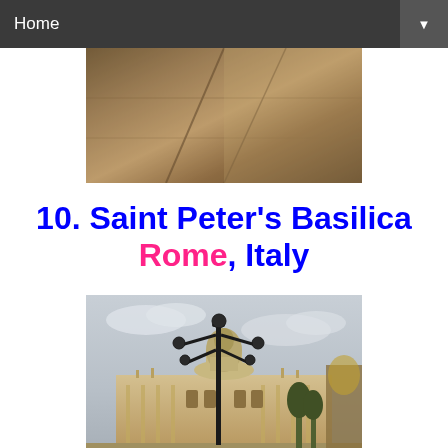Home
[Figure (photo): Close-up photo of stone architectural detail, warm sepia/tan tones, angled stone blocks]
10. Saint Peter's Basilica
Rome, Italy
[Figure (photo): Photo of Saint Peter's Basilica in Rome with a large ornate lamppost in the foreground, cloudy sky, plaza visible]